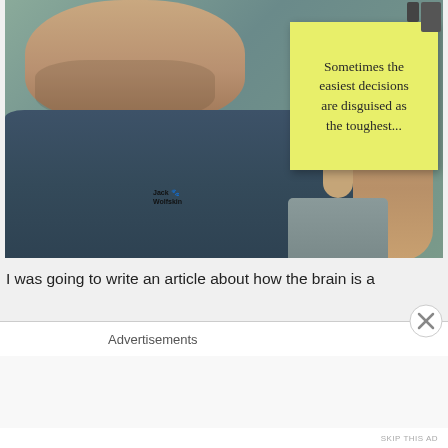[Figure (photo): A man holding up a yellow sticky note that reads 'Sometimes the easiest decisions are disguised as the toughest...' He is wearing a dark blue Jack Wolfskin shirt and looking down at the camera.]
I was going to write an article about how the brain is a
Advertisements